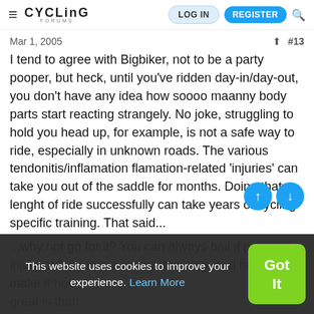CYCLING FORUMS — LOG IN  REGISTER
Mar 1, 2005  #13
I tend to agree with Bigbiker, not to be a party pooper, but heck, until you've ridden day-in/day-out, you don't have any idea how soooo maanny body parts start reacting strangely. No joke, struggling to hold you head up, for example, is not a safe way to ride, especially in unknown roads. The various tendonitis/inflamation flamation-related 'injuries' can take you out of the saddle for months. Doing that lenght of ride successfully can take years of cycling-specific training. That said...
...why not go for it? You can always bail if personal injury or fatigue are too overcoming, and heck, if you make it how great is that!
This website uses cookies to improve your experience. Learn More  Got It